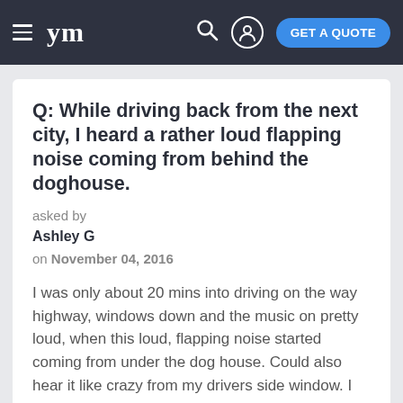ym  GET A QUOTE
Q: While driving back from the next city, I heard a rather loud flapping noise coming from behind the doghouse.
asked by
Ashley G
on November 04, 2016
I was only about 20 mins into driving on the way highway, windows down and the music on pretty loud, when this loud, flapping noise started coming from under the dog house. Could also hear it like crazy from my drivers side window. I pulled over and took a quick visual scan of the fan belt; Fan belt is like